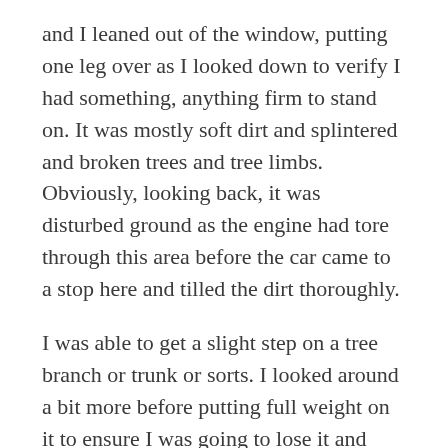and I leaned out of the window, putting one leg over as I looked down to verify I had something, anything firm to stand on. It was mostly soft dirt and splintered and broken trees and tree limbs. Obviously, looking back, it was disturbed ground as the engine had tore through this area before the car came to a stop here and tilled the dirt thoroughly.
I was able to get a slight step on a tree branch or trunk or sorts. I looked around a bit more before putting full weight on it to ensure I was going to lose it and stumble further downward. We were after all still about 10 feet above where ever the next car was in front of us. In those few second I observed that a pickup truck had the front right fascia smashed in front of us in the ditch too, and car 1 of the train had crushed into it. I couldn't even imagine how that had